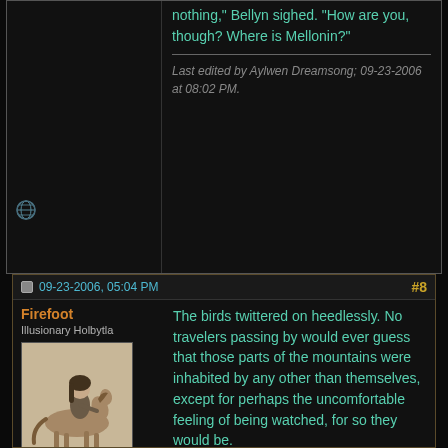nothing," Bellyn sighed. "How are you, though? Where is Mellonin?"
Last edited by Aylwen Dreamsong; 09-23-2006 at 08:02 PM.
09-23-2006, 05:04 PM
#8
Firefoot
Illusionary Holbytla
[Figure (photo): Avatar image showing a person on horseback, sepia/muted tones]
Join Date: Dec 2003
Posts: 7,646
The birds twittered on heedlessly. No travelers passing by would ever guess that those parts of the mountains were inhabited by any other than themselves, except for perhaps the uncomfortable feeling of being watched, for so they would be.

Higher in the White Mountains than other Wild Men were wonted to go dwelled a single Wild Man whose only company were those heedless birds. But dwelling is a relative term, for he did not dwell there as the Stone Folk did in their